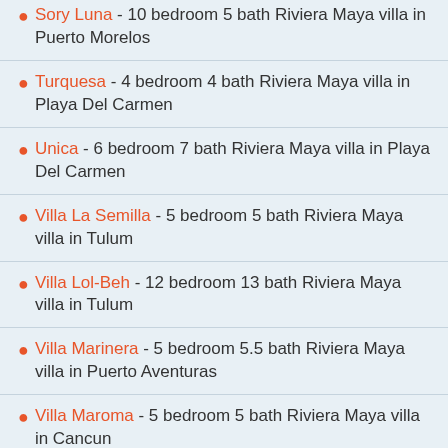Sory Luna - 10 bedroom 5 bath Riviera Maya villa in Puerto Morelos
Turquesa - 4 bedroom 4 bath Riviera Maya villa in Playa Del Carmen
Unica - 6 bedroom 7 bath Riviera Maya villa in Playa Del Carmen
Villa La Semilla - 5 bedroom 5 bath Riviera Maya villa in Tulum
Villa Lol-Beh - 12 bedroom 13 bath Riviera Maya villa in Tulum
Villa Marinera - 5 bedroom 5.5 bath Riviera Maya villa in Puerto Aventuras
Villa Maroma - 5 bedroom 5 bath Riviera Maya villa in Cancun